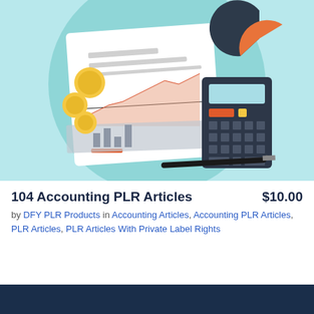[Figure (illustration): Flat-style illustration of accounting/finance items on a light blue background: a circular teal background with a white document showing a red/orange area chart and bar chart, gold coins, a calculator, a black pen, and a pie chart in dark grey and orange.]
104 Accounting PLR Articles
$10.00
by DFY PLR Products in Accounting Articles, Accounting PLR Articles, PLR Articles, PLR Articles With Private Label Rights